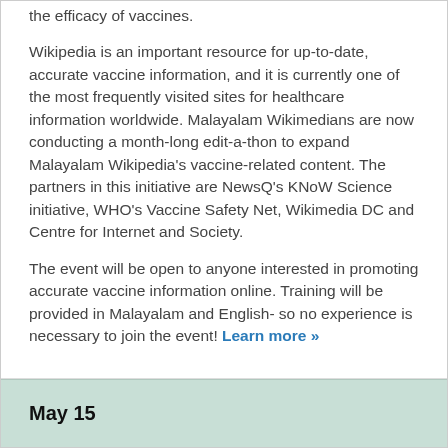the efficacy of vaccines.
Wikipedia is an important resource for up-to-date, accurate vaccine information, and it is currently one of the most frequently visited sites for healthcare information worldwide. Malayalam Wikimedians are now conducting a month-long edit-a-thon to expand Malayalam Wikipedia's vaccine-related content. The partners in this initiative are NewsQ's KNoW Science initiative, WHO's Vaccine Safety Net, Wikimedia DC and Centre for Internet and Society.
The event will be open to anyone interested in promoting accurate vaccine information online. Training will be provided in Malayalam and English- so no experience is necessary to join the event! Learn more »
May 15